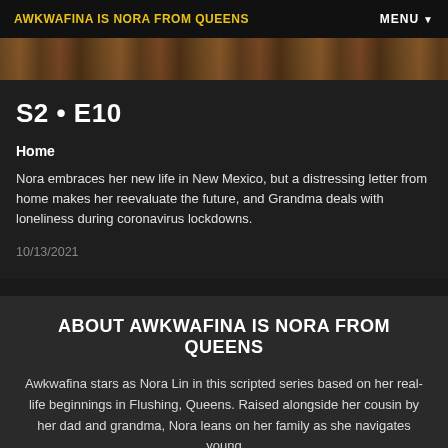AWKWAFINA IS NORA FROM QUEENS | MENU
[Figure (photo): Partial image visible at top of episode card, dark warm-toned background]
S2 • E10
Home
Nora embraces her new life in New Mexico, but a distressing letter from home makes her reevaluate the future, and Grandma deals with loneliness during coronavirus lockdowns.
10/13/2021
ABOUT AWKWAFINA IS NORA FROM QUEENS
Awkwafina stars as Nora Lin in this scripted series based on her real-life beginnings in Flushing, Queens. Raised alongside her cousin by her dad and grandma, Nora leans on her family as she navigates young